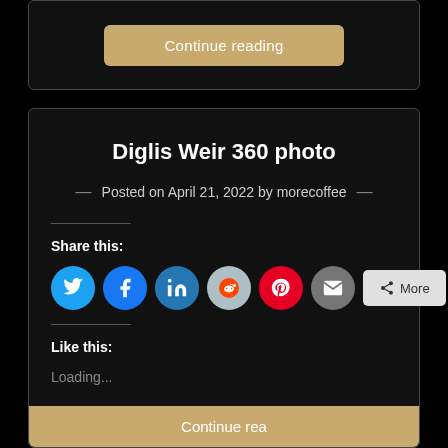[Figure (screenshot): A 'Continue reading' button with gold/tan background color at the top of the page inside a dark card]
Diglis Weir 360 photo
Posted on April 21, 2022 by morecoffee
Share this:
[Figure (infographic): Social share icons: Twitter (blue), Facebook (blue), LinkedIn (blue), Reddit (gray), Pinterest (red), Email (gray), and a More button]
Like this:
Loading...
[Figure (screenshot): Partially visible 'Continue reading' button at the bottom of the page]